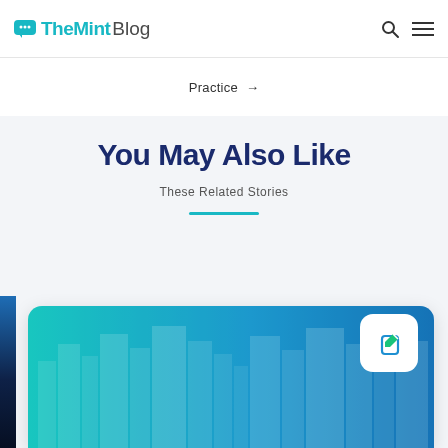TheMint Blog
Practice →
You May Also Like
These Related Stories
[Figure (photo): City skyline with teal-to-blue gradient overlay, article card with edit icon badge]